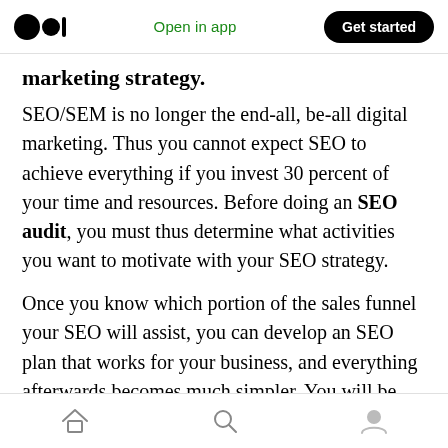Open in app | Get started
marketing strategy.
SEO/SEM is no longer the end-all, be-all digital marketing. Thus you cannot expect SEO to achieve everything if you invest 30 percent of your time and resources. Before doing an SEO audit, you must thus determine what activities you want to motivate with your SEO strategy.
Once you know which portion of the sales funnel your SEO will assist, you can develop an SEO plan that works for your business, and everything afterwards becomes much simpler. You will be able to analyze the performance of your content
Home | Search | Profile